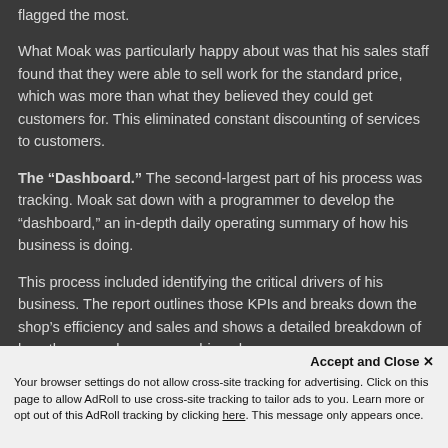flagged the most.
What Moak was particularly happy about was that his sales staff found that they were able to sell work for the standard price, which was more than what they believed they could get customers for. This eliminated constant discounting of services to customers.
The “Dashboard.” The second-largest part of his process was tracking. Moak sat down with a programmer to develop the “dashboard,” an in-depth daily operating summary of how his business is doing.
This process included identifying the critical drivers of his business. The report outlines those KPIs and breaks down the shop’s efficiency and sales and shows a detailed breakdown of how those numbers were achieved.
It shows where the shop is at for the day, week and month in
Accept and Close × Your browser settings do not allow cross-site tracking for advertising. Click on this page to allow AdRoll to use cross-site tracking to tailor ads to you. Learn more or opt out of this AdRoll tracking by clicking here. This message only appears once.